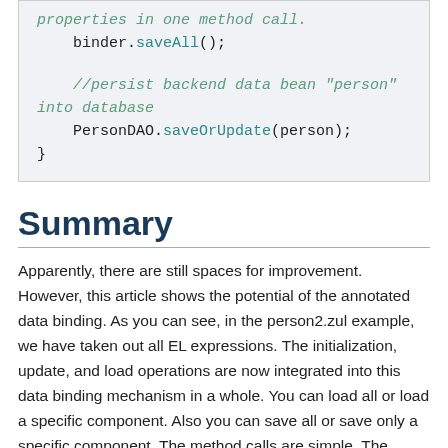properties in one method call.
    binder.saveAll();

    //persist backend data bean "person" into database
    PersonDAO.saveOrUpdate(person);
}
Summary
Apparently, there are still spaces for improvement. However, this article shows the potential of the annotated data binding. As you can see, in the person2.zul example, we have taken out all EL expressions. The initialization, update, and load operations are now integrated into this data binding mechanism in a whole. You can load all or load a specific component. Also you can save all or save only a specific component. The method calls are simple. The annotation